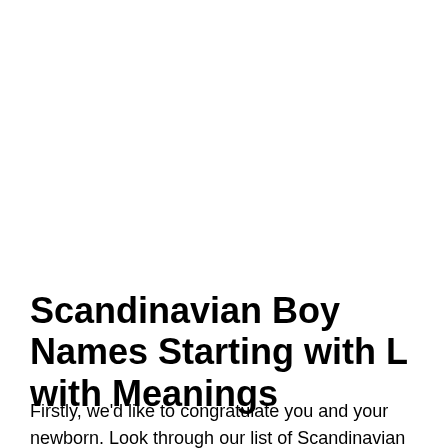Scandinavian Boy Names Starting with L with Meanings
Firstly, we'd like to congratulate you and your newborn. Look through our list of Scandinavian Boy Names starting with L...